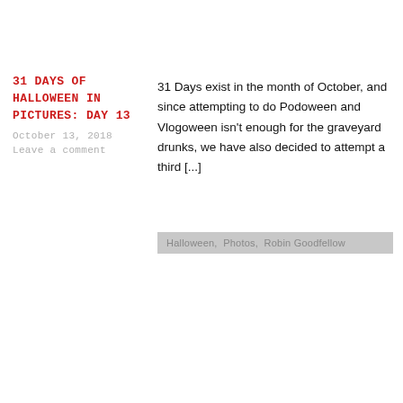31 DAYS OF HALLOWEEN IN PICTURES: DAY 13
October 13, 2018
Leave a comment
31 Days exist in the month of October, and since attempting to do Podoween and Vlogoween isn't enough for the graveyard drunks, we have also decided to attempt a third [...]
Halloween,  Photos,  Robin Goodfellow